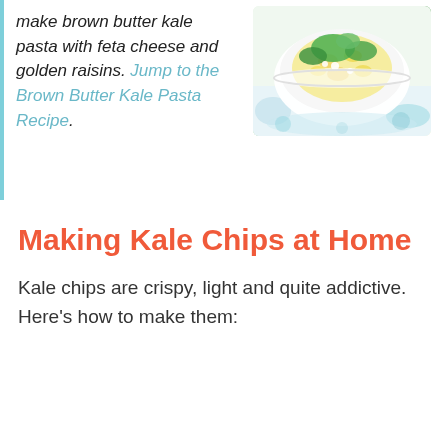make brown butter kale pasta with feta cheese and golden raisins. Jump to the Brown Butter Kale Pasta Recipe.
[Figure (photo): A bowl of pasta with kale and cheese, on a decorative blue and white patterned cloth.]
Making Kale Chips at Home
Kale chips are crispy, light and quite addictive. Here's how to make them: